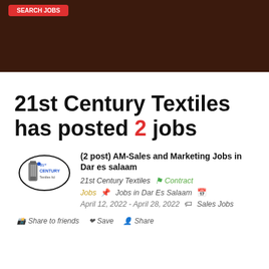[Figure (photo): Dark brown blurred background image with a red button in the top-left corner]
21st Century Textiles has posted 2 jobs
[Figure (logo): 21st Century Textiles Ltd logo — circular emblem with a spool/filter device and blue/black text]
(2 post) AM-Sales and Marketing Jobs in Dar es salaam
21st Century Textiles   Contract
Jobs   Jobs in Dar Es Salaam
April 12, 2022 - April 28, 2022   Sales Jobs